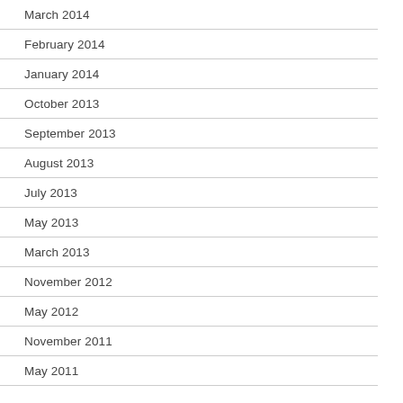March 2014
February 2014
January 2014
October 2013
September 2013
August 2013
July 2013
May 2013
March 2013
November 2012
May 2012
November 2011
May 2011